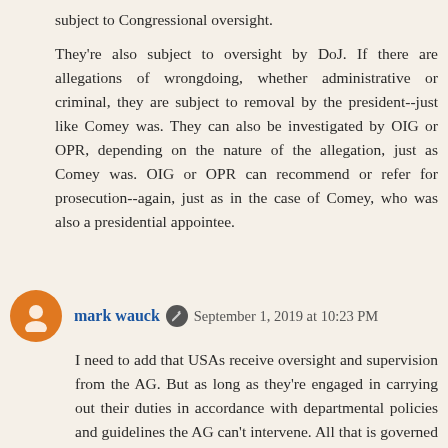subject to Congressional oversight.
They're also subject to oversight by DoJ. If there are allegations of wrongdoing, whether administrative or criminal, they are subject to removal by the president--just like Comey was. They can also be investigated by OIG or OPR, depending on the nature of the allegation, just as Comey was. OIG or OPR can recommend or refer for prosecution--again, just as in the case of Comey, who was also a presidential appointee.
mark wauck  September 1, 2019 at 10:23 PM
I need to add that USAs receive oversight and supervision from the AG. But as long as they're engaged in carrying out their duties in accordance with departmental policies and guidelines the AG can't intervene. All that is governed by internal regulations and guidelines for DoJ, and in particular by the EOUSA